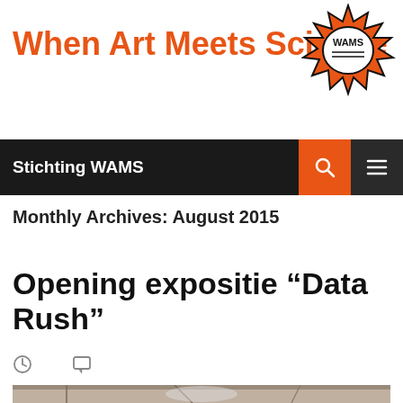When Art Meets Science
[Figure (logo): WAMS starburst logo badge with text WAMS in center]
Stichting WAMS
Monthly Archives: August 2015
Opening expositie “Data Rush”
[Figure (photo): Interior construction or installation space with wooden beams and structural elements visible]